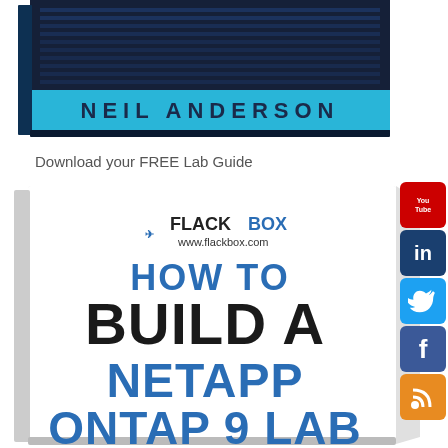[Figure (photo): Top portion of a book by Neil Anderson with dark blue/black cover featuring server/network imagery and cyan text band at bottom reading NEIL ANDERSON]
Download your FREE Lab Guide
[Figure (photo): Book cover for 'How to Build a NetApp ONTAP 9 Lab' by Flackbox (www.flackbox.com), white 3D book with blue bold text]
[Figure (illustration): Social media icon buttons on right side: YouTube (red), LinkedIn (dark blue), Twitter (light blue), Facebook (blue), RSS (orange)]